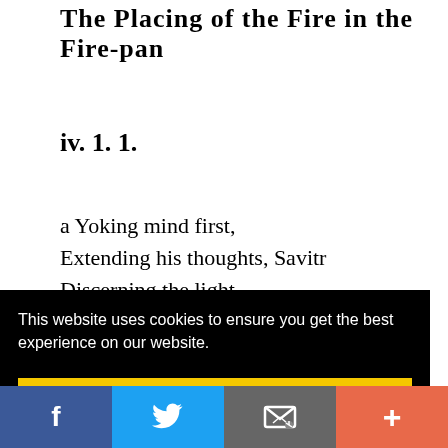The Placing of the Fire in the Fire-pan
iv. 1. 1.
a Yoking mind first,
Extending his thoughts, Savitr
Discerning the light,
Hath brought Agni from the earth.
b Yoking with mind the gods,
This website uses cookies to ensure you get the best experience on our website.
Got it!